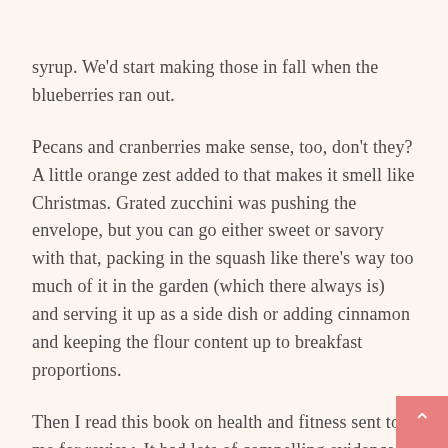syrup. We'd start making those in fall when the blueberries ran out.
Pecans and cranberries make sense, too, don't they? A little orange zest added to that makes it smell like Christmas. Grated zucchini was pushing the envelope, but you can go either sweet or savory with that, packing in the squash like there's way too much of it in the garden (which there always is) and serving it up as a side dish or adding cinnamon and keeping the flour content up to breakfast proportions.
Then I read this book on health and fitness sent to me for review. It had lots of compelling evidence about how bad our typical food is for us. We should have lean protein, fruits, vegetables, nuts, green tea… that's all. Read the